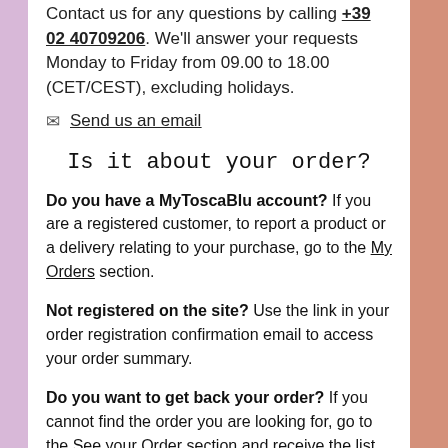Contact us for any questions by calling +39 02 40709206. We'll answer your requests Monday to Friday from 09.00 to 18.00 (CET/CEST), excluding holidays.
Send us an email
Is it about your order?
Do you have a MyToscaBlu account? If you are a registered customer, to report a product or a delivery relating to your purchase, go to the My Orders section.
Not registered on the site? Use the link in your order registration confirmation email to access your order summary.
Do you want to get back your order? If you cannot find the order you are looking for, go to the See your Order section and receive the list of your Tosca Blu orders by email.